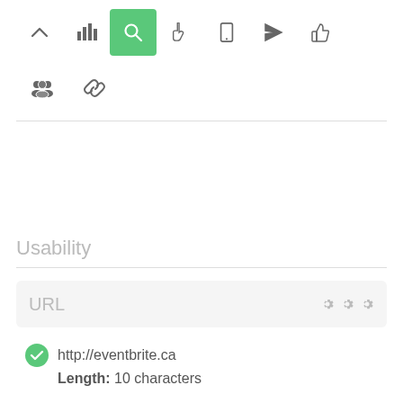[Figure (screenshot): Toolbar with navigation icons: up chevron, bar chart, search (active/green), hand pointer, mobile phone, paper plane, thumbs up, group of people, chain link]
Usability
URL
http://eventbrite.ca
Length: 10 characters